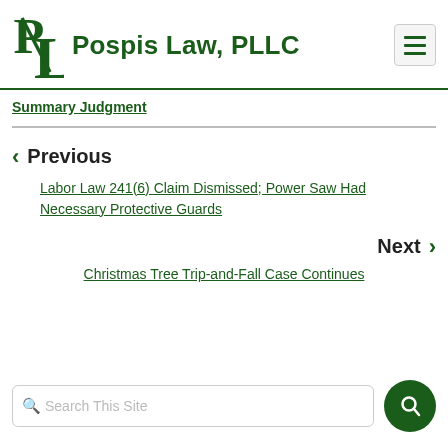Pospis Law, PLLC
Summary Judgment
Previous
Labor Law 241(6) Claim Dismissed; Power Saw Had Necessary Protective Guards
Next
Christmas Tree Trip-and-Fall Case Continues
Search This Site